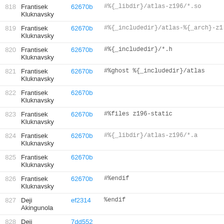| # | Author | Commit | Code |
| --- | --- | --- | --- |
| 818 | Frantisek Kluknavsky | 62670b | #%{_libdir}/atlas-z196/*.so |
| 819 | Frantisek Kluknavsky | 62670b | #%{_includedir}/atlas-%{_arch}-z1 |
| 820 | Frantisek Kluknavsky | 62670b | #%{_includedir}/*.h |
| 821 | Frantisek Kluknavsky | 62670b | #%ghost %{_includedir}/atlas |
| 822 | Frantisek Kluknavsky | 62670b |  |
| 823 | Frantisek Kluknavsky | 62670b | #%files z196-static |
| 824 | Frantisek Kluknavsky | 62670b | #%{_libdir}/atlas-z196/*.a |
| 825 | Frantisek Kluknavsky | 62670b |  |
| 826 | Frantisek Kluknavsky | 62670b | #%endif |
| 827 | Deji Akingunola | ef2314 | %endif |
| 828 | Deji Akingunola | 7dd552 |  |